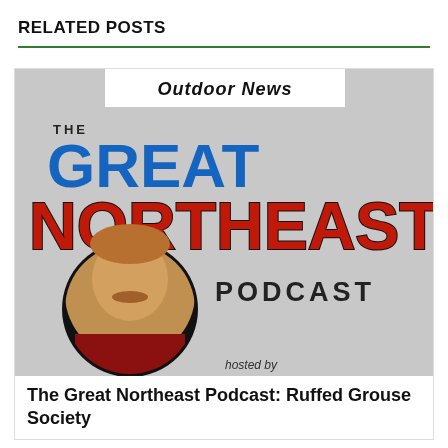RELATED POSTS
[Figure (photo): Podcast cover art for 'The Great Northeast Podcast' with Outdoor News branding. Shows the title in large bold text with blue 'GREAT' and red 'NORTHEAST', plus a circular portrait photo of the host.]
The Great Northeast Podcast: Ruffed Grouse Society